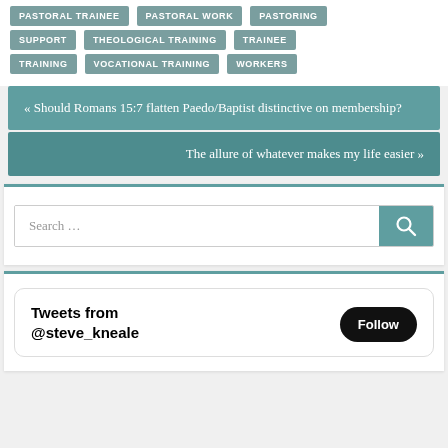PASTORAL TRAINEE
PASTORAL WORK
PASTORING
SUPPORT
THEOLOGICAL TRAINING
TRAINEE
TRAINING
VOCATIONAL TRAINING
WORKERS
« Should Romans 15:7 flatten Paedo/Baptist distinctive on membership?
The allure of whatever makes my life easier »
Search ...
Tweets from @steve_kneale
Follow